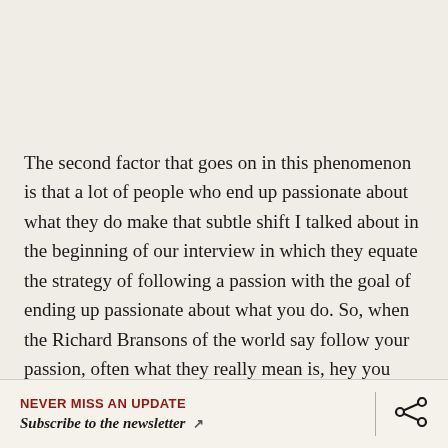The second factor that goes on in this phenomenon is that a lot of people who end up passionate about what they do make that subtle shift I talked about in the beginning of our interview in which they equate the strategy of following a passion with the goal of ending up passionate about what you do. So, when the Richard Bransons of the world say follow your passion, often what they really mean is, hey you should set the goal of ending up being passionate about your work, you know, don't sell yourself short. Those are two very different things.
NEVER MISS AN UPDATE
Subscribe to the newsletter